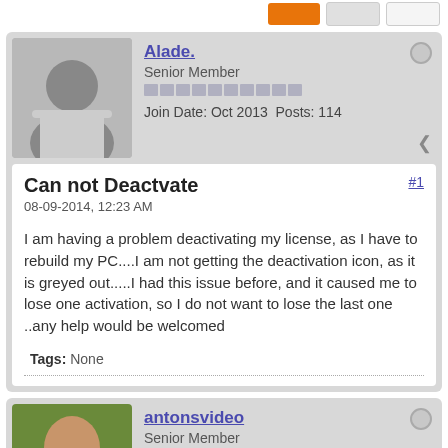[Figure (other): Top bar with orange button and two gray buttons]
Alade. — Senior Member — Join Date: Oct 2013 Posts: 114
Can not Deactvate
08-09-2014, 12:23 AM
I am having a problem deactivating my license, as I have to rebuild my PC....I am not getting the deactivation icon, as it is greyed out.....I had this issue before, and it caused me to lose one activation, so I do not want to lose the last one ..any help would be welcomed
Tags: None
antonsvideo — Senior Member — Join Date: May 2007 Posts: 25862